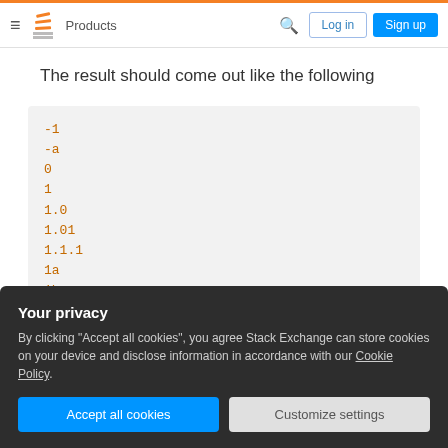≡ [Stack Overflow logo] Products 🔍 Log in Sign up
The result should come out like the following
[Figure (screenshot): Code block with orange monospace text on light grey background showing sorted output: -1, -a, 0, 1, 1.0, 1.01, 1.1.1, 1a, 1b, 9]
Your privacy
By clicking "Accept all cookies", you agree Stack Exchange can store cookies on your device and disclose information in accordance with our Cookie Policy.
Accept all cookies   Customize settings
a1a1